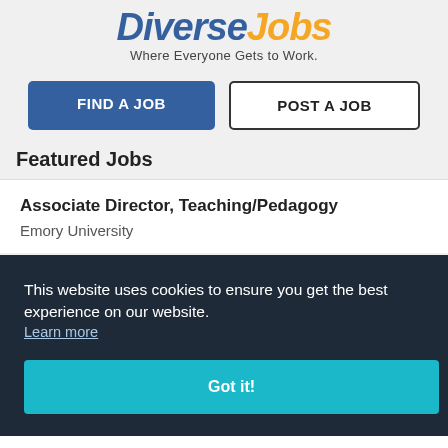[Figure (logo): Diverse Jobs logo with italic bold text 'Diverse Jobs' in blue and orange, tagline 'Where Everyone Gets to Work.']
FIND A JOB
POST A JOB
Featured Jobs
Associate Director, Teaching/Pedagogy
Emory University
This website uses cookies to ensure you get the best experience on our website.
Learn more
Got it!